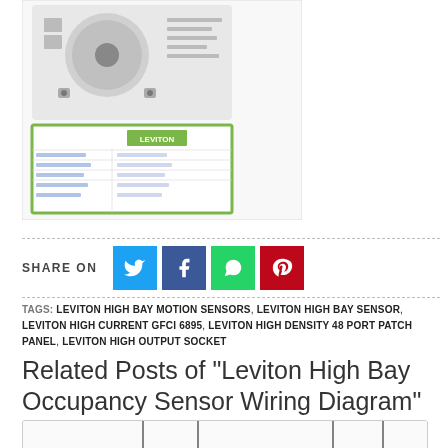[Figure (photo): Product image of Leviton High Bay Occupancy Sensor with specification sheet showing Leviton branding and a green border]
SHARE ON
TAGS: LEVITON HIGH BAY MOTION SENSORS, LEVITON HIGH BAY SENSOR, LEVITON HIGH CURRENT GFCI 6895, LEVITON HIGH DENSITY 48 PORT PATCH PANEL, LEVITON HIGH OUTPUT SOCKET
Related Posts of "Leviton High Bay Occupancy Sensor Wiring Diagram"
[Figure (engineering-diagram): Partial wiring diagram showing vertical lines and ground symbols, appears to be an electrical schematic]